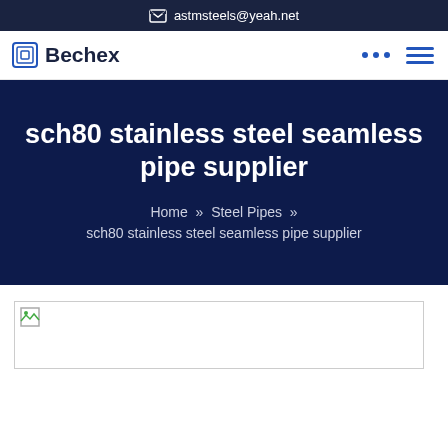astmsteels@yeah.net
Bechex
sch80 stainless steel seamless pipe supplier
Home » Steel Pipes » sch80 stainless steel seamless pipe supplier
[Figure (photo): Broken/missing product image placeholder for sch80 stainless steel seamless pipe]